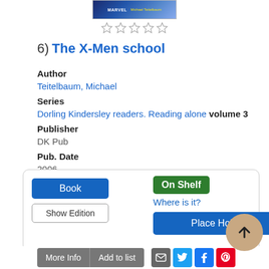[Figure (photo): Book cover thumbnail for The X-Men school by Michael Teitelbaum, Marvel themed]
[Figure (other): Five empty star rating icons]
6)  The X-Men school
Author
Teitelbaum, Michael
Series
Dorling Kindersley readers. Reading alone volume 3
Publisher
DK Pub
Pub. Date
2006
Language
English
Book | On Shelf | Where is it? | Show Edition | Place Hold
Description
Read Description
More Info  Add to list